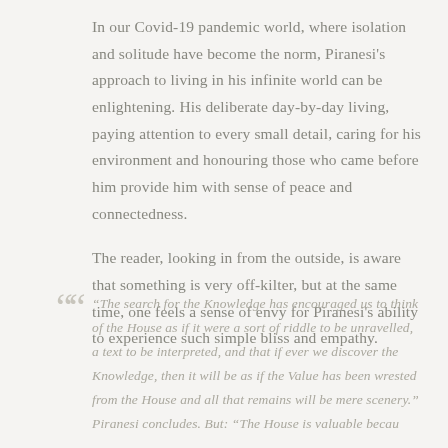In our Covid-19 pandemic world, where isolation and solitude have become the norm, Piranesi's approach to living in his infinite world can be enlightening. His deliberate day-by-day living, paying attention to every small detail, caring for his environment and honouring those who came before him provide him with sense of peace and connectedness.
The reader, looking in from the outside, is aware that something is very off-kilter, but at the same time, one feels a sense of envy for Piranesi's ability to experience such simple bliss and empathy.
“The search for the Knowledge has encouraged us to think of the House as if it were a sort of riddle to be unravelled, a text to be interpreted, and that if ever we discover the Knowledge, then it will be as if the Value has been wrested from the House and all that remains will be mere scenery.” Piranesi concludes. But: “The House is valuable becau